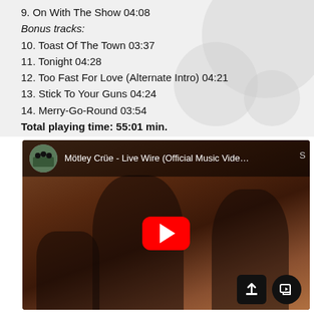9. On With The Show 04:08
Bonus tracks:
10. Toast Of The Town 03:37
11. Tonight 04:28
12. Too Fast For Love (Alternate Intro) 04:21
13. Stick To Your Guns 04:24
14. Merry-Go-Round 03:54
Total playing time: 55:01 min.
[Figure (screenshot): YouTube video embed showing Mötley Crüe - Live Wire (Official Music Video) with play button overlay and band members photo in background]